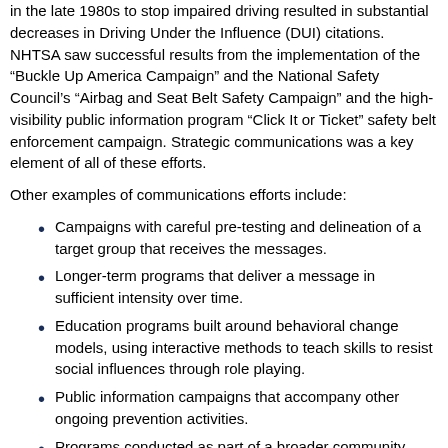in the late 1980s to stop impaired driving resulted in substantial decreases in Driving Under the Influence (DUI) citations. NHTSA saw successful results from the implementation of the “Buckle Up America Campaign” and the National Safety Council’s “Airbag and Seat Belt Safety Campaign” and the high-visibility public information program “Click It or Ticket” safety belt enforcement campaign. Strategic communications was a key element of all of these efforts.
Other examples of communications efforts include:
Campaigns with careful pre-testing and delineation of a target group that receives the messages.
Longer-term programs that deliver a message in sufficient intensity over time.
Education programs built around behavioral change models, using interactive methods to teach skills to resist social influences through role playing.
Public information campaigns that accompany other ongoing prevention activities.
Programs conducted as part of a broader community effort or in support of law enforcement.